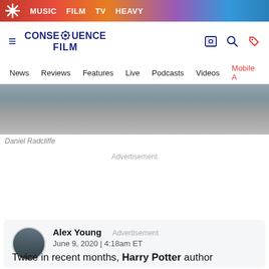MUSIC  FILM  TV  HEAVY
[Figure (logo): Consequence Film site logo with gear icon, navigation icons (cinema, search, tag)]
News  Reviews  Features  Live  Podcasts  Videos  Mobile A
[Figure (photo): Daniel Radcliffe photo, cropped showing upper body in jacket]
Daniel Radcliffe
Advertisement
Alex Young
June 9, 2020 | 4:18am ET
Advertisement
Twice in recent months, Harry Potter author